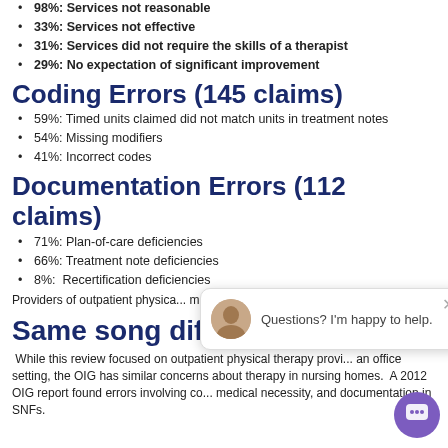98%: Services not reasonable
33%: Services not effective
31%: Services did not require the skills of a therapist
29%: No expectation of significant improvement
Coding Errors (145 claims)
59%: Timed units claimed did not match units in treatment notes
54%: Missing modifiers
41%: Incorrect codes
Documentation Errors (112 claims)
71%: Plan-of-care deficiencies
66%: Treatment note deficiencies
8%:  Recertification deficiencies
Providers of outpatient physica... monitoring by CMS, as well as...
Same song different tune?
While this review focused on outpatient physical therapy provi... an office setting, the OIG has similar concerns about therapy in nursing homes. A 2012 OIG report found errors involving co... medical necessity, and documentation in SNFs.